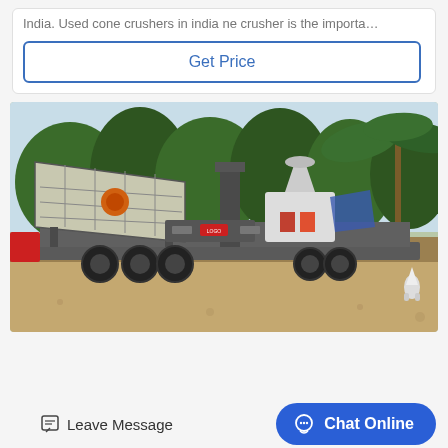India. Used cone crushers in india ne crusher is the importa…
Get Price
[Figure (photo): Outdoor photograph of a large mobile cone crusher machine mounted on a heavy-duty trailer with multiple axles, with a vibrating screen section on the left, set against a background of tropical trees and dirt ground.]
Leave Message
Chat Online